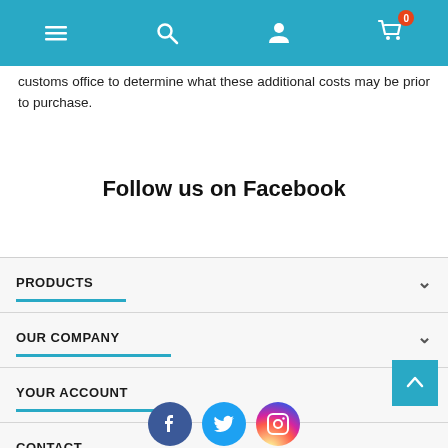[Navigation bar with menu, search, account, and cart icons]
customs office to determine what these additional costs may be prior to purchase.
Follow us on Facebook
PRODUCTS
OUR COMPANY
YOUR ACCOUNT
CONTACT
[Figure (other): Social media icons: Facebook (dark blue circle), Twitter (cyan circle), Instagram (gradient circle)]